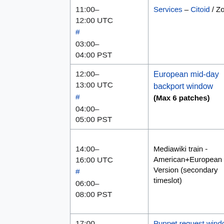| (margin) | Time | Description | Details |
| --- | --- | --- | --- |
|  | 11:00–12:00 UTC
#
03:00–04:00 PST | Services – Citoid / Zotero | (cut off) |
|  | 12:00–13:00 UTC
#
04:00–05:00 PST | European mid-day backport window
(Max 6 patches) | (cut off) |
|  | 14:00–16:00 UTC
#
06:00–08:00 PST | Mediawiki train - American+European Version (secondary timeslot) | (cut off) |
|  | 17:00–18:00 UTC | Puppet request window | (cut off) |